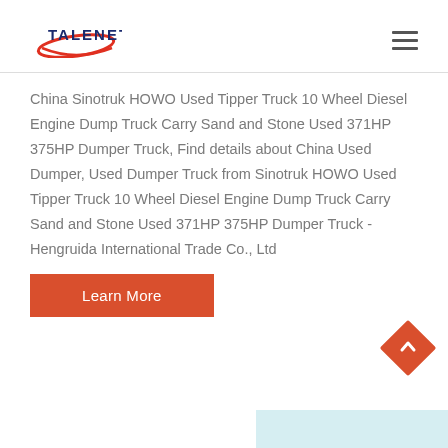[Figure (logo): TALENET logo with red oval swoosh and blue text]
China Sinotruk HOWO Used Tipper Truck 10 Wheel Diesel Engine Dump Truck Carry Sand and Stone Used 371HP 375HP Dumper Truck, Find details about China Used Dumper, Used Dumper Truck from Sinotruk HOWO Used Tipper Truck 10 Wheel Diesel Engine Dump Truck Carry Sand and Stone Used 371HP 375HP Dumper Truck - Hengruida International Trade Co., Ltd
Learn More